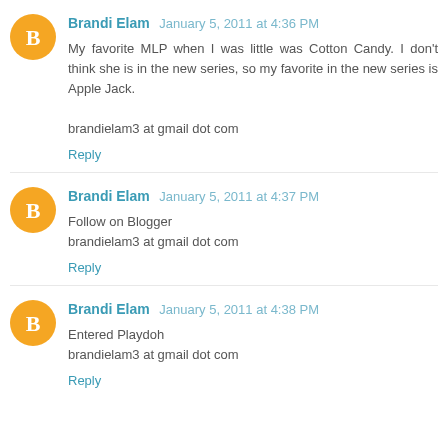Brandi Elam January 5, 2011 at 4:36 PM
My favorite MLP when I was little was Cotton Candy. I don't think she is in the new series, so my favorite in the new series is Apple Jack.

brandielam3 at gmail dot com
Reply
Brandi Elam January 5, 2011 at 4:37 PM
Follow on Blogger
brandielam3 at gmail dot com
Reply
Brandi Elam January 5, 2011 at 4:38 PM
Entered Playdoh
brandielam3 at gmail dot com
Reply